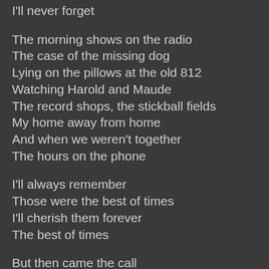I'll never forget
The morning shows on the radio
The case of the missing dog
Lying on the pillows at the old 812
Watching Harold and Maude
The record shops, the stickball fields
My home away from home
And when we weren't together
The hours on the phone
I'll always remember
Those were the best of times
I'll cherish them forever
The best of times
But then came the call
Our lives changed forever more
"You can pray for a change
But prepare for the end..."
The fleeting winds of time